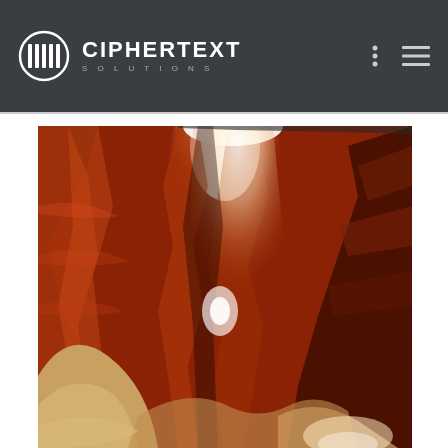CIPHERTEXT SOLUTIONS
[Figure (photo): Photograph of a slot canyon (resembling Antelope Canyon) with warm orange and red sandstone walls, dramatic light beams, and winding rock formations viewed from below.]